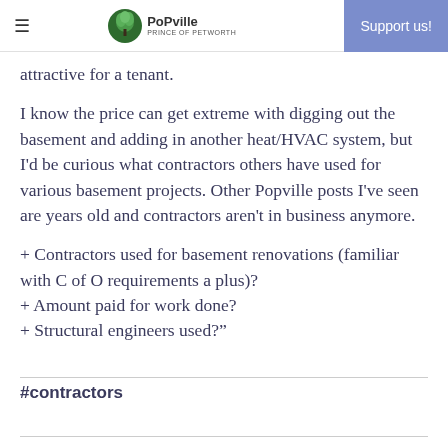≡  PoPville  Support us!
attractive for a tenant.
I know the price can get extreme with digging out the basement and adding in another heat/HVAC system, but I'd be curious what contractors others have used for various basement projects. Other Popville posts I've seen are years old and contractors aren't in business anymore.
+ Contractors used for basement renovations (familiar with C of O requirements a plus)?
+ Amount paid for work done?
+ Structural engineers used?"
#contractors